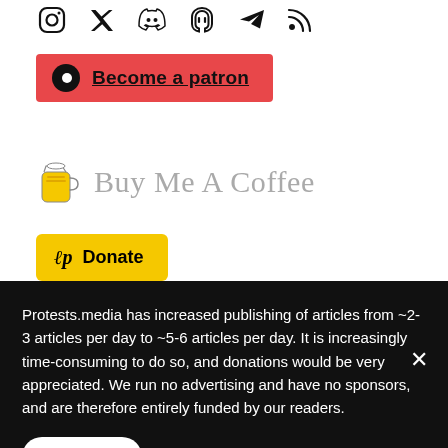[Figure (infographic): Social media icons: Instagram, Twitter, Discord, Mastodon, Telegram, RSS]
[Figure (infographic): Red Patreon button with Patreon circle logo and text 'Become a patron']
[Figure (infographic): Buy Me A Coffee button with coffee cup icon and cursive text 'Buy Me A Coffee']
[Figure (infographic): Yellow Donate button with Liberapay icon and bold text 'Donate']
Protests.media has increased publishing of articles from ~2-3 articles per day to ~5-6 articles per day. It is increasingly time-consuming to do so, and donations would be very appreciated. We run no advertising and have no sponsors, and are therefore entirely funded by our readers.
Patreon